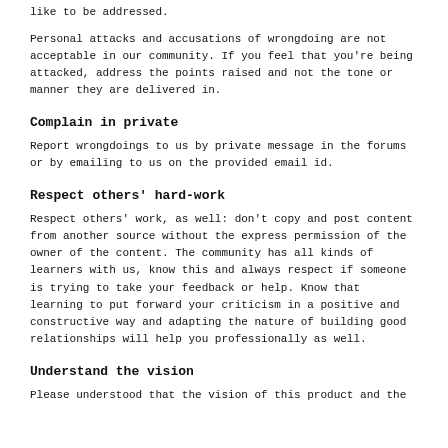like to be addressed.
Personal attacks and accusations of wrongdoing are not acceptable in our community. If you feel that you're being attacked, address the points raised and not the tone or manner they are delivered in.
Complain in private
Report wrongdoings to us by private message in the forums or by emailing to us on the provided email id.
Respect others' hard-work
Respect others' work, as well: don't copy and post content from another source without the express permission of the owner of the content. The community has all kinds of learners with us, know this and always respect if someone is trying to take your feedback or help. Know that learning to put forward your criticism in a positive and constructive way and adapting the nature of building good relationships will help you professionally as well.
Understand the vision
Please understood that the vision of this product and the